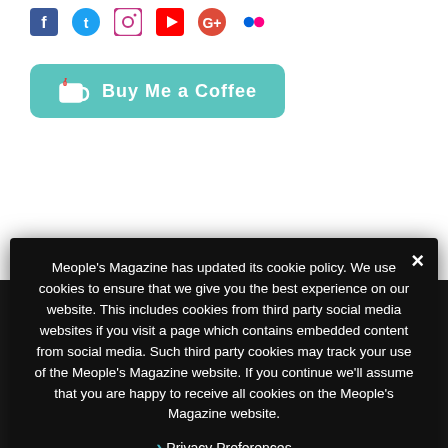[Figure (infographic): Social media icons row: Facebook, Twitter, Instagram, YouTube, Google+, Flickr]
[Figure (infographic): Buy Me a Coffee button in teal/green with coffee cup icon]
Meople's Magazine has updated its cookie policy. We use cookies to ensure that we give you the best experience on our website. This includes cookies from third party social media websites if you visit a page which contains embedded content from social media. Such third party cookies may track your use of the Meople's Magazine website. If you continue we'll assume that you are happy to receive all cookies on the Meople's Magazine website.
Privacy Preferences
I Agree